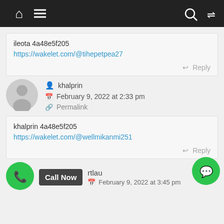[Figure (screenshot): Website navigation bar with dark background showing home icon, hamburger menu icon, search icon, and shuffle icon]
ileota 4a48e5f205
https://wakelet.com/@tihepetpea27
Reply
[Figure (illustration): Gray default user avatar circle]
khalprin
February 9, 2022 at 2:33 pm
Permalink
khalprin 4a48e5f205
https://wakelet.com/@wellmikanmi251
Reply
[Figure (illustration): Green phone call button circle and Call Now button label and partial user avatar]
rtlau
February 9, 2022 at 3:45 pm